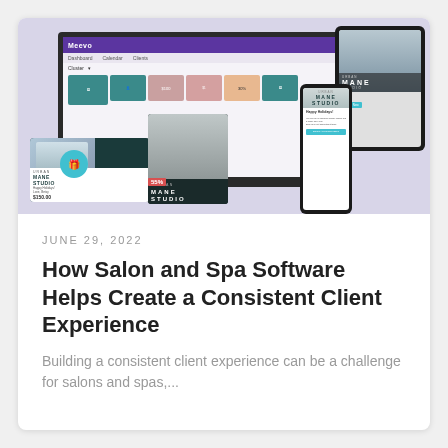[Figure (screenshot): A composite marketing image showing a salon/spa software (Meevo) on a laptop screen, a gift card, a promotional card with a model, a smartphone, and a tablet — all with branding for 'Mane Studio'. The background is light lavender/gray.]
JUNE 29, 2022
How Salon and Spa Software Helps Create a Consistent Client Experience
Building a consistent client experience can be a challenge for salons and spas,...